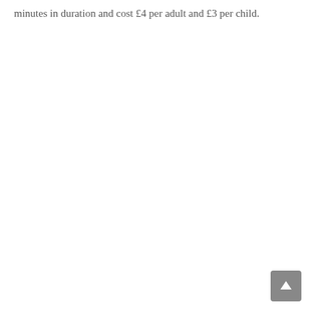minutes in duration and cost £4 per adult and £3 per child.
[Figure (other): Scroll-to-top button icon: a grey rounded square button with a white upward-pointing arrow in the bottom-right corner of the page.]